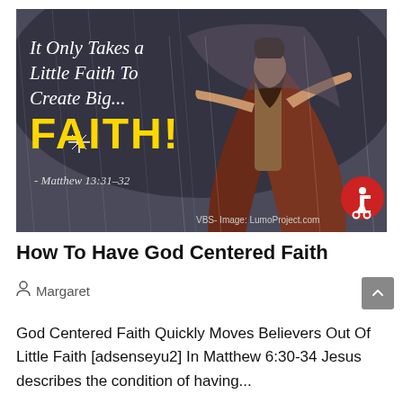[Figure (photo): Inspirational religious image showing a robed figure with arms outstretched in rain. Text overlay reads: 'It Only Takes a Little Faith To Create Big... FAITH!' with attribution '- Matthew 13:31-32' and 'VBS- Image: LumoProject.com'. Red accessibility icon in bottom right corner.]
How To Have God Centered Faith
Margaret
God Centered Faith Quickly Moves Believers Out Of Little Faith [adsenseyu2] In Matthew 6:30-34 Jesus describes the condition of having...